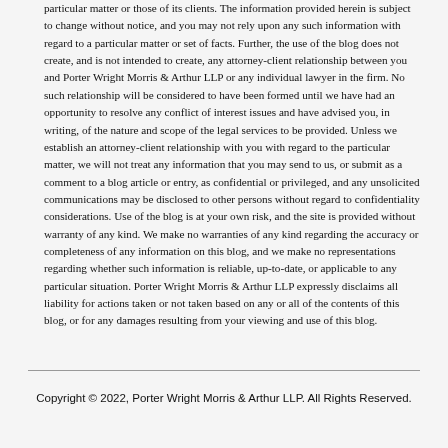particular matter or those of its clients. The information provided herein is subject to change without notice, and you may not rely upon any such information with regard to a particular matter or set of facts. Further, the use of the blog does not create, and is not intended to create, any attorney-client relationship between you and Porter Wright Morris & Arthur LLP or any individual lawyer in the firm. No such relationship will be considered to have been formed until we have had an opportunity to resolve any conflict of interest issues and have advised you, in writing, of the nature and scope of the legal services to be provided. Unless we establish an attorney-client relationship with you with regard to the particular matter, we will not treat any information that you may send to us, or submit as a comment to a blog article or entry, as confidential or privileged, and any unsolicited communications may be disclosed to other persons without regard to confidentiality considerations. Use of the blog is at your own risk, and the site is provided without warranty of any kind. We make no warranties of any kind regarding the accuracy or completeness of any information on this blog, and we make no representations regarding whether such information is reliable, up-to-date, or applicable to any particular situation. Porter Wright Morris & Arthur LLP expressly disclaims all liability for actions taken or not taken based on any or all of the contents of this blog, or for any damages resulting from your viewing and use of this blog.
Copyright © 2022, Porter Wright Morris & Arthur LLP. All Rights Reserved.